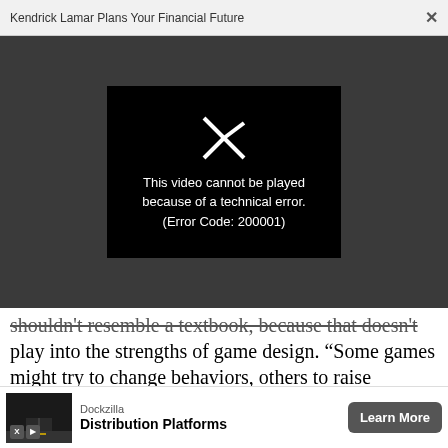Kendrick Lamar Plans Your Financial Future  ×
[Figure (screenshot): Video player showing error: 'This video cannot be played because of a technical error. (Error Code: 200001)' on a dark grey background with a black video frame and a broken play icon.]
shouldn't resemble a textbook, because that doesn't play into the strengths of game design. "Some games might try to change behaviors, others to raise awareness about an injustice or some phenomenon happening, others to impact identity and to make an issue more personally relevant, still others to spark
[Figure (infographic): Advertisement banner for Dockzilla showing 'Distribution Platforms' with a 'Learn More' button and a thumbnail image of a dock/road at night.]